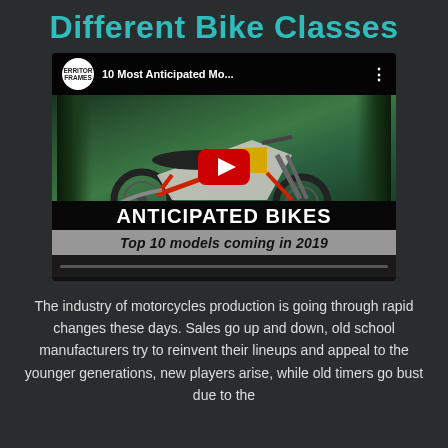Different Bike Classes
[Figure (screenshot): YouTube video thumbnail showing a motorcycle (dirt bike style) in a green outdoor setting. The video title reads '10 Most Anticipated Mo...' with a Territory channel logo. Overlay text reads 'ANTICIPATED BIKES' and 'Top 10 models coming in 2019'. A red YouTube play button is visible in the center.]
The industry of motorcycles production is going through rapid changes these days. Sales go up and down, old school manufacturers try to reinvent their lineups and appeal to the younger generations, new players arise, while old timers go bust due to the